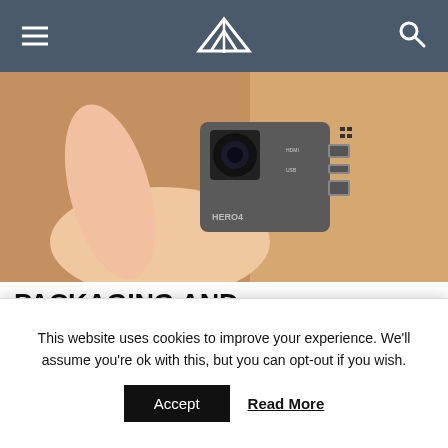VR (logo) navigation bar with hamburger menu and search icon
[Figure (photo): Close-up photo of a hand holding a GoPro HERO4 action camera, showing the side ports (HDMI, USB, microSD) against a warm wooden background.]
PACKAGING AND ACCESSORIES
When you buy the GoPro Hero4 Black you get:
Rechargeable Battery for HERO4
This website uses cookies to improve your experience. We'll assume you're ok with this, but you can opt-out if you wish.
Accept  Read More